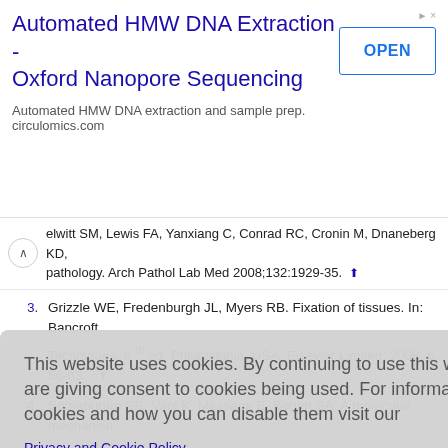[Figure (screenshot): Advertisement banner for Automated HMW DNA Extraction - Oxford Nanopore Sequencing from circulomics.com with OPEN button]
[collapsed reference] elwitt SM, Lewis FA, Yanxiang C, Conrad RC, Cronin M, Dnaneberg KD, ...pathology. Arch Pathol Lab Med 2008;132:1929-35. ↑
3. Grizzle WE, Fredenburgh JL, Myers RB. Fixation of tissues. In: Bancroft... Techniques. 6th ed. Philadelphia, USA: Elsevier Limited; 2008. p. 56-63. ↑
4. Somapuram SR, Vani K, Messana E, Bogen SA. A molecular mechanism... glutaraldeh... protein sec... processes. 1... tissue processi...
This website uses cookies. By continuing to use this website you are giving consent to cookies being used. For information on cookies and how you can disable them visit our
Privacy and Cookie Policy.
AGREE & PROCEED
9. Yong-Hing CJ, Obonaus A, Stryker R, Tong K, Sarty GE. Magnetic resi...